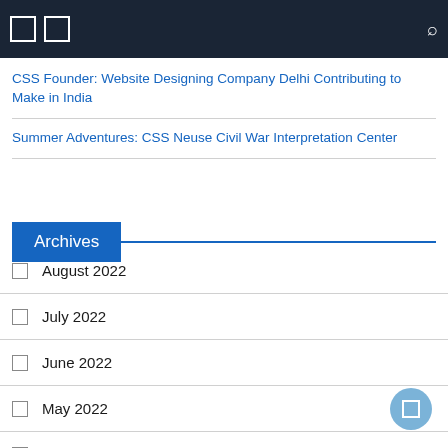Navigation bar with icons and search
CSS Founder: Website Designing Company Delhi Contributing to Make in India
Summer Adventures: CSS Neuse Civil War Interpretation Center
Archives
August 2022
July 2022
June 2022
May 2022
April 2022